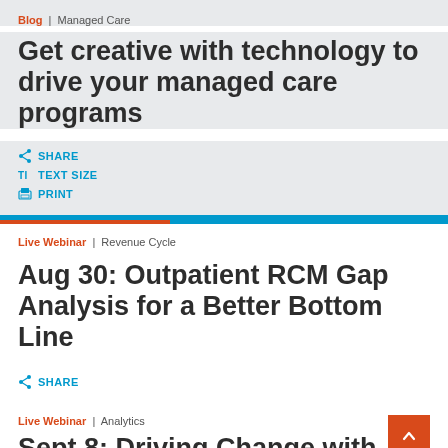Blog | Managed Care
Get creative with technology to drive your managed care programs
SHARE
TEXT SIZE
PRINT
Live Webinar | Revenue Cycle
Aug 30: Outpatient RCM Gap Analysis for a Better Bottom Line
SHARE
Live Webinar | Analytics
Sept 8: Driving Change with Enterprise Perf…